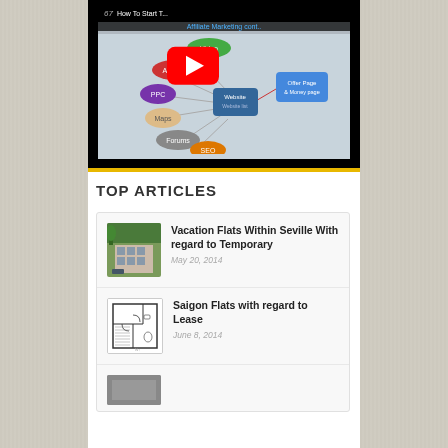[Figure (screenshot): YouTube video thumbnail showing 'How To Start... Affiliate Marketing cont..' with a mind map diagram showing Video, Articles, PPC, Maps, Forums, SEO nodes connected to a Website node and Offer Page / Money page. Red YouTube play button overlay in center.]
TOP ARTICLES
Vacation Flats Within Seville With regard to Temporary
May 20, 2014
Saigon Flats with regard to Lease
June 8, 2014